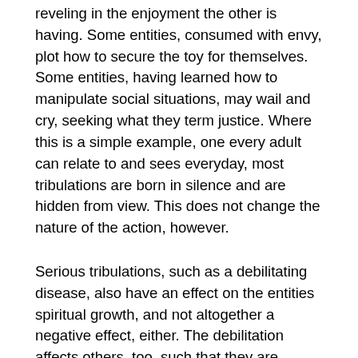reveling in the enjoyment the other is having. Some entities, consumed with envy, plot how to secure the toy for themselves. Some entities, having learned how to manipulate social situations, may wail and cry, seeking what they term justice. Where this is a simple example, one every adult can relate to and sees everyday, most tribulations are born in silence and are hidden from view. This does not change the nature of the action, however.
Serious tribulations, such as a debilitating disease, also have an effect on the entities spiritual growth, and not altogether a negative effect, either. The debilitation affects others, too, such that they are moved to care for and sympathize with the afflicted one. In the Service-to-Other orientation there are two parties involved, the giver and the receiver. Learning how to receive is just as important, surprisingly, as learning how to give. When one is in Service-to-Others, they do not serve well if they simply give the other whatever is desired. What the other